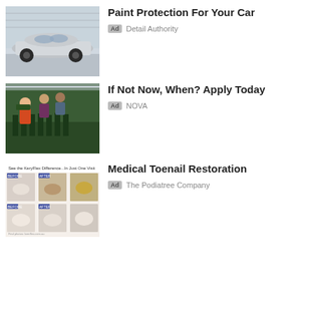[Figure (photo): Partial photo strip at top of page, partially cropped]
[Figure (photo): Silver/white car in garage or showroom]
Paint Protection For Your Car
Ad  Detail Authority
[Figure (photo): People working with plants in a greenhouse]
If Not Now, When? Apply Today
Ad  NOVA
[Figure (photo): Medical toenail restoration before/after grid images with text: See the KeryFlex Difference...In Just One Visit]
Medical Toenail Restoration
Ad  The Podiatree Company